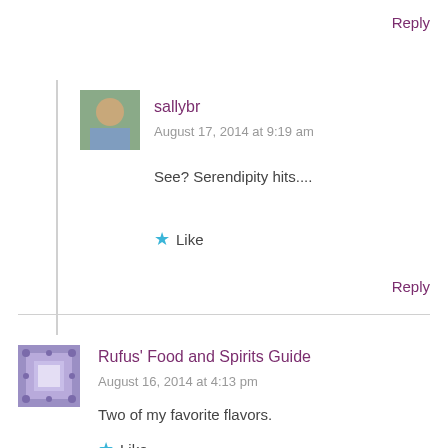Reply
sallybr
August 17, 2014 at 9:19 am
See? Serendipity hits....
Like
Reply
Rufus' Food and Spirits Guide
August 16, 2014 at 4:13 pm
Two of my favorite flavors.
Like